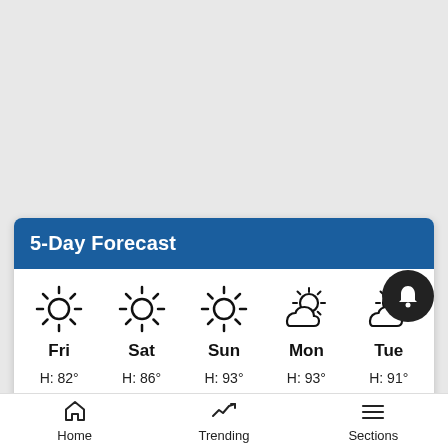5-Day Forecast
| Fri | Sat | Sun | Mon | Tue |
| --- | --- | --- | --- | --- |
| H: 82° | H: 86° | H: 93° | H: 93° | H: 91° |
| L: 56° | L: 55° | L: 60° | L: 63° | L: 65° |
Home   Trending   Sections